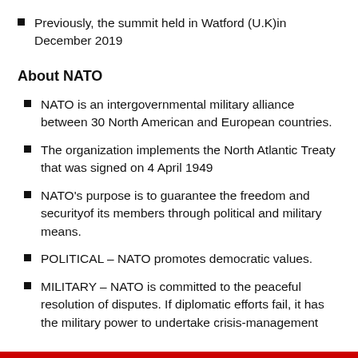Previously, the summit held in Watford (U.K)in December 2019
About NATO
NATO is an intergovernmental military alliance between 30 North American and European countries.
The organization implements the North Atlantic Treaty that was signed on 4 April 1949
NATO's purpose is to guarantee the freedom and securityof its members through political and military means.
POLITICAL – NATO promotes democratic values.
MILITARY – NATO is committed to the peaceful resolution of disputes. If diplomatic efforts fail,  it has the military power to undertake crisis-management